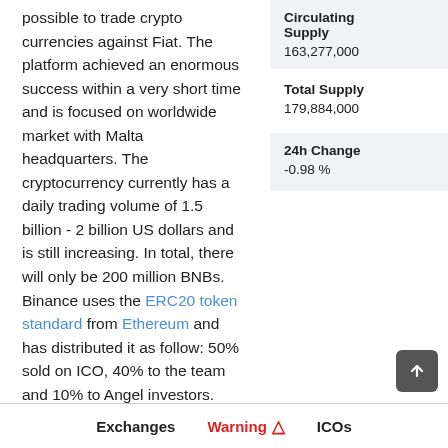possible to trade crypto currencies against Fiat. The platform achieved an enormous success within a very short time and is focused on worldwide market with Malta headquarters. The cryptocurrency currently has a daily trading volume of 1.5 billion - 2 billion US dollars and is still increasing. In total, there will only be 200 million BNBs. Binance uses the ERC20 token standard from Ethereum and has distributed it as follow: 50% sold on ICO, 40% to the team and 10% to Angel investors. The coin can be used to pay fees on
| Circulating Supply |
| --- |
| 163,277,000 |
| Total Supply |
| --- |
| 179,884,000 |
| 24h Change |
| --- |
| -0.98 % |
Exchanges   Warning ⚠   ICOs